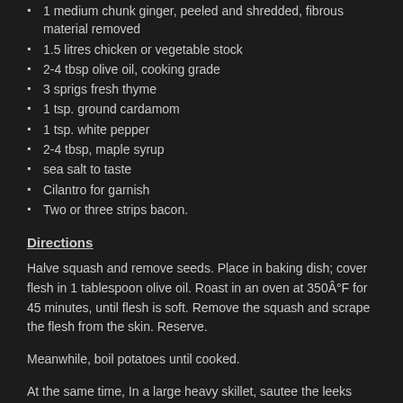1 medium chunk ginger, peeled and shredded, fibrous material removed
1.5 litres chicken or vegetable stock
2-4 tbsp olive oil, cooking grade
3 sprigs fresh thyme
1 tsp. ground cardamom
1 tsp. white pepper
2-4 tbsp, maple syrup
sea salt to taste
Cilantro for garnish
Two or three strips bacon.
Directions
Halve squash and remove seeds. Place in baking dish; cover flesh in 1 tablespoon olive oil. Roast in an oven at 350Â°F for 45 minutes, until flesh is soft. Remove the squash and scrape the flesh from the skin. Reserve.
Meanwhile, boil potatoes until cooked.
At the same time, In a large heavy skillet, sautee the leeks